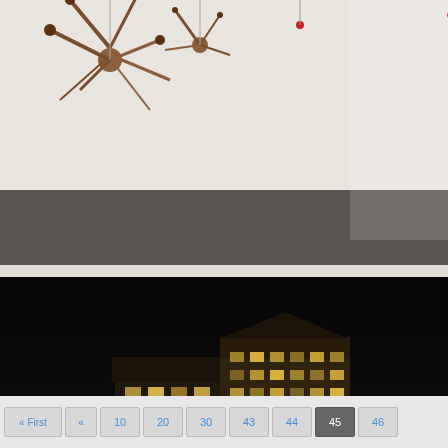[Figure (photo): Person standing in an art gallery with sculptural installations hanging from the ceiling - spiky branch-like sculptures. White walls, gray floor.]
with se these w sculpt sugg room. jump...
[Figure (photo): Nighttime photo of Paris along the Seine river, showing illuminated buildings, a bridge, street art/graffiti of large eyes on a wall, and reflections of lights on the dark water.]
Preview (Nuit B
Posted
Here's prepara Heroes does" s fashion Oct 3rd Blanche annual and art
Contin artists the sca
« First  «  10  20  30  43  44  45  46